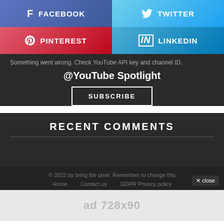[Figure (infographic): Social media share buttons: Facebook (blue-purple), Twitter (blue), Pinterest (red), LinkedIn (blue)]
Something went wrong. Check YouTube API key and channel ID.
@YouTube Spotlight
SUBSCRIBE
RECENT COMMENTS
© 2022 by bring the pixel. Remember to change this
Home   Contact us   GDPR Privacy policy
ad 728x90